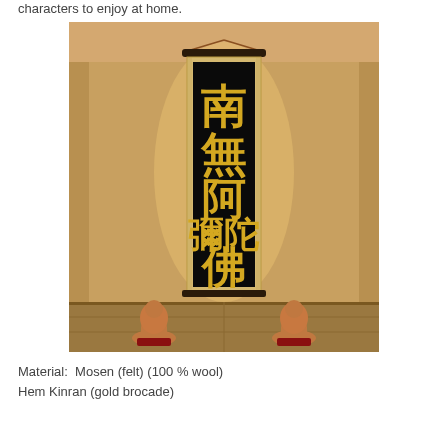characters to enjoy at home.
[Figure (photo): A Buddhist altar niche with a vertical hanging scroll displaying Chinese characters '南無阿彌陀佛' (Namu Amida Butsu) in gold on black background with brocade border, flanked on the floor by two terracotta-colored laughing Buddha figurines on red bases, set against a warm golden-yellow wall.]
Material:  Mosen (felt) (100 % wool)
Hem Kinran (gold brocade)